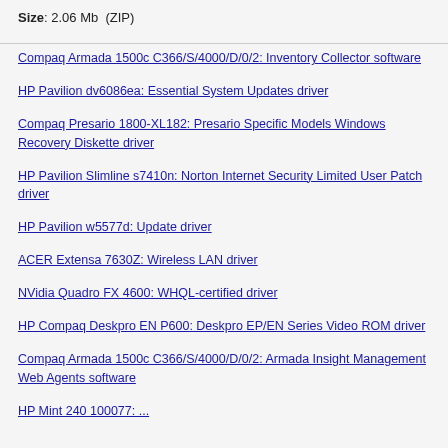Size: 2.06 Mb  (ZIP)
Compaq Armada 1500c C366/S/4000/D/0/2: Inventory Collector software
HP Pavilion dv6086ea: Essential System Updates driver
Compaq Presario 1800-XL182: Presario Specific Models Windows Recovery Diskette driver
HP Pavilion Slimline s7410n: Norton Internet Security Limited User Patch driver
HP Pavilion w5577d: Update driver
ACER Extensa 7630Z: Wireless LAN driver
NVidia Quadro FX 4600: WHQL-certified driver
HP Compaq Deskpro EN P600: Deskpro EP/EN Series Video ROM driver
Compaq Armada 1500c C366/S/4000/D/0/2: Armada Insight Management Web Agents software
HP Mint 240 100077: ...